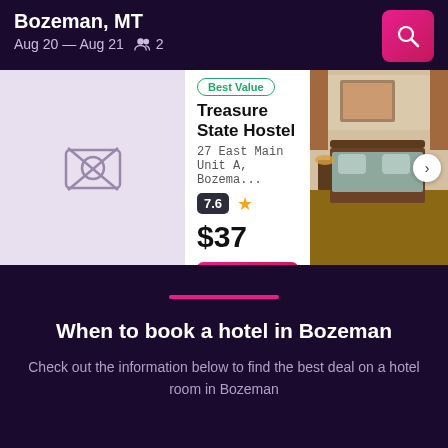Bozeman, MT
Aug 20 — Aug 21   2
[Figure (screenshot): Hotel search result card with image placeholder, Treasure State Hostel listing showing Best Value badge, address, rating 7.6, star, price $37, View Deal button, and room photo]
When to book a hotel in Bozeman
Check out the information below to find the best deal on a hotel room in Bozeman